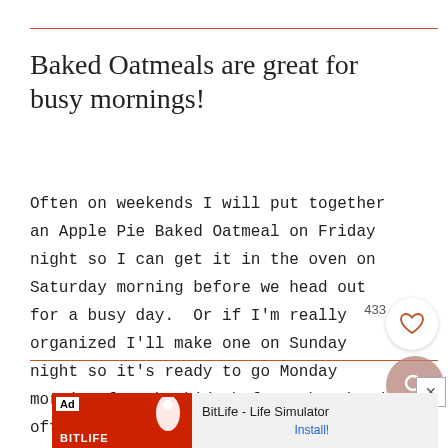Baked Oatmeals are great for busy mornings!
Often on weekends I will put together an Apple Pie Baked Oatmeal on Friday night so I can get it in the oven on Saturday morning before we head out for a busy day.  Or if I'm really organized I'll make one on Sunday night so it's ready to go Monday morning for the kids before they head off to school.
[Figure (screenshot): Ad banner for BitLife - Life Simulator with Install button]